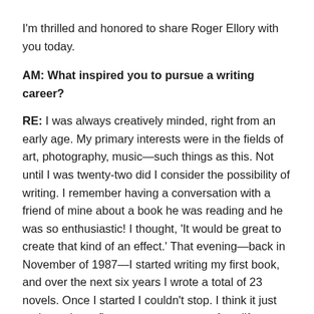I'm thrilled and honored to share Roger Ellory with you today.
AM: What inspired you to pursue a writing career?
RE: I was always creatively minded, right from an early age. My primary interests were in the fields of art, photography, music—such things as this. Not until I was twenty-two did I consider the possibility of writing. I remember having a conversation with a friend of mine about a book he was reading and he was so enthusiastic! I thought, ‘It would be great to create that kind of an effect.’ That evening—back in November of 1987—I started writing my first book, and over the next six years I wrote a total of 23 novels. Once I started I couldn't stop. I think it just took me those first twenty-two years of my life to really